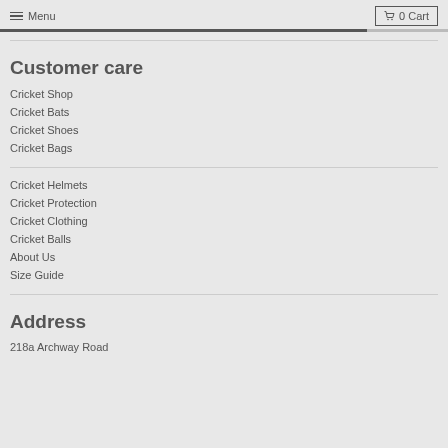Menu | 0 Cart
Customer care
Cricket Shop
Cricket Bats
Cricket Shoes
Cricket Bags
Cricket Helmets
Cricket Protection
Cricket Clothing
Cricket Balls
About Us
Size Guide
Address
218a Archway Road